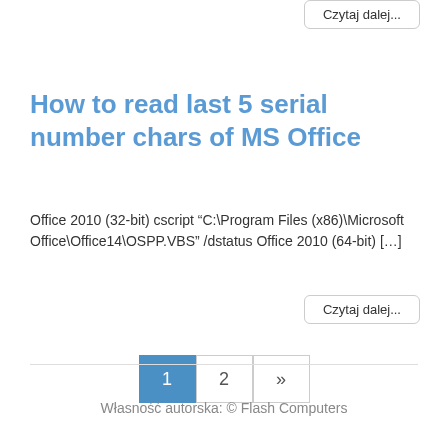Czytaj dalej...
How to read last 5 serial number chars of MS Office
Office 2010 (32-bit) cscript “C:\Program Files (x86)\Microsoft Office\Office14\OSPP.VBS” /dstatus Office 2010 (64-bit) […]
Czytaj dalej...
1 2 »
Własność autorska: © Flash Computers